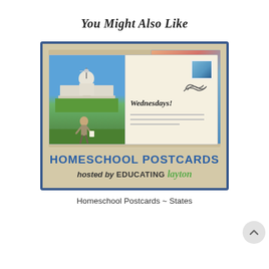You Might Also Like
[Figure (illustration): Homeschool Postcards promotional image showing a postcard with the US Capitol building and a child, with 'Wednesdays!' text, hosted by Educating Layton, with a blue border and tan background]
Homeschool Postcards ~ States